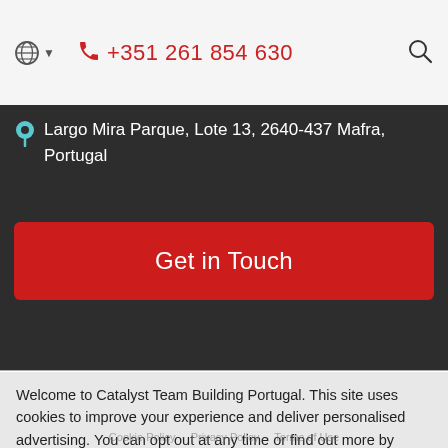+351 261 854 630
Largo Mira Parque, Lote 13, 2640-437 Mafra, Portugal
Get in Touch
Welcome to Catalyst Team Building Portugal. This site uses cookies to improve your experience and deliver personalised advertising. You can opt out at any time or find out more by reading our cookie policy.
I Understand
Copyright © 2022 Catalyst Limited